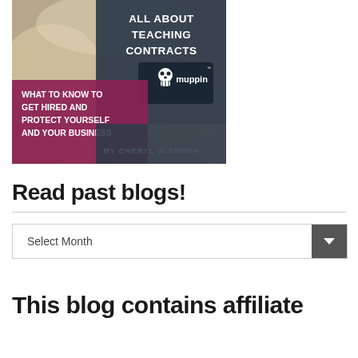[Figure (illustration): Book cover image: 'All About Teaching Contracts - What to Know to Get Hired and Protect Yourself and Your Business' by Cheryl Sleboda, featuring the Muppin logo with skull icon. Background shows a blurred classroom scene.]
Read past blogs!
Select Month
This blog contains affiliate